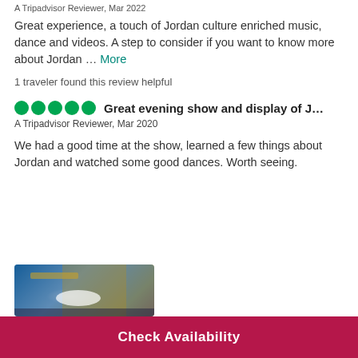A Tripadvisor Reviewer, Mar 2022
Great experience, a touch of Jordan culture enriched music, dance and videos. A step to consider if you want to know more about Jordan … More
1 traveler found this review helpful
Great evening show and display of J…
A Tripadvisor Reviewer, Mar 2020
We had a good time at the show, learned a few things about Jordan and watched some good dances. Worth seeing.
[Figure (photo): A photo showing a stage with blue and golden lighting effects]
Check Availability